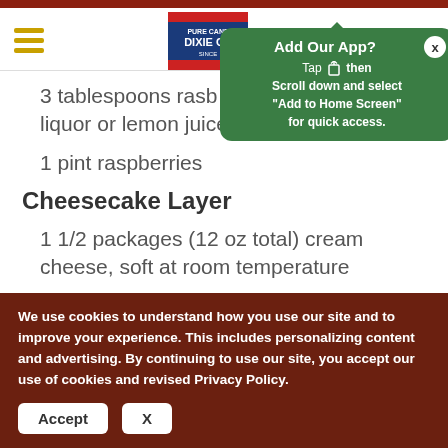Dixie Crystals recipe page header with hamburger menu and logo
[Figure (screenshot): Add Our App? tooltip popup in green with close button. Text: Tap then Scroll down and select 'Add to Home Screen' for quick access.]
3 tablespoons raspberry liquor or lemon juice
1 pint raspberries
Cheesecake Layer
1 1/2 packages (12 oz total) cream cheese, soft at room temperature
1/2 cup Dixie Crystals Extra Fine Granulated Sugar minus 1 tablespoon
We use cookies to understand how you use our site and to improve your experience. This includes personalizing content and advertising. By continuing to use our site, you accept our use of cookies and revised Privacy Policy.